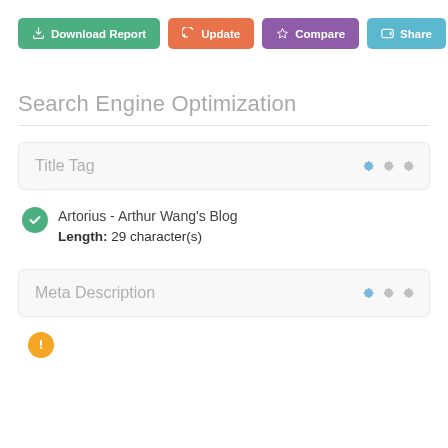[Figure (screenshot): Navigation buttons: Download Report (green), Update (orange), Compare (purple), Share (blue)]
Search Engine Optimization
Title Tag
Artorius - Arthur Wang's Blog
Length: 29 character(s)
Meta Description